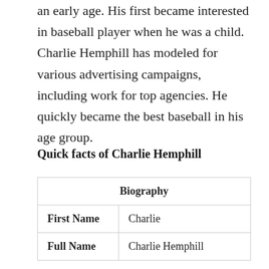an early age. His first became interested in baseball player when he was a child. Charlie Hemphill has modeled for various advertising campaigns, including work for top agencies. He quickly became the best baseball in his age group.
Quick facts of Charlie Hemphill
| Biography |
| --- |
| First Name | Charlie |
| Full Name | Charlie Hemphill |